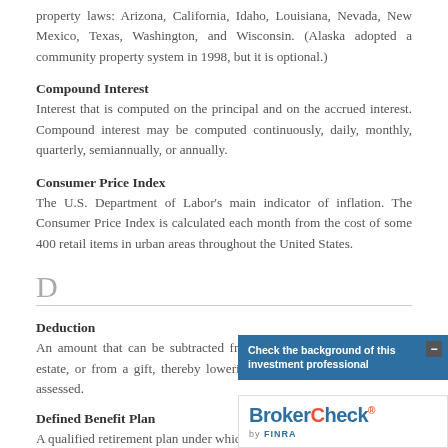property laws: Arizona, California, Idaho, Louisiana, Nevada, New Mexico, Texas, Washington, and Wisconsin. (Alaska adopted a community property system in 1998, but it is optional.)
Compound Interest
Interest that is computed on the principal and on the accrued interest. Compound interest may be computed continuously, daily, monthly, quarterly, semiannually, or annually.
Consumer Price Index
The U.S. Department of Labor's main indicator of inflation. The Consumer Price Index is calculated each month from the cost of some 400 retail items in urban areas throughout the United States.
D
Deduction
An amount that can be subtracted from gross income, from a gross estate, or from a gift, thereby lowering the amount on which tax is assessed.
Defined Benefit Plan
A qualified retirement plan under which a retiring